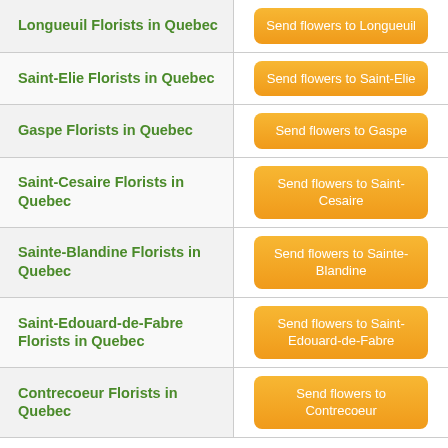| Florist | Action |
| --- | --- |
| Longueuil Florists in Quebec | Send flowers to Longueuil |
| Saint-Elie Florists in Quebec | Send flowers to Saint-Elie |
| Gaspe Florists in Quebec | Send flowers to Gaspe |
| Saint-Cesaire Florists in Quebec | Send flowers to Saint-Cesaire |
| Sainte-Blandine Florists in Quebec | Send flowers to Sainte-Blandine |
| Saint-Edouard-de-Fabre Florists in Quebec | Send flowers to Saint-Edouard-de-Fabre |
| Contrecoeur Florists in Quebec | Send flowers to Contrecoeur |